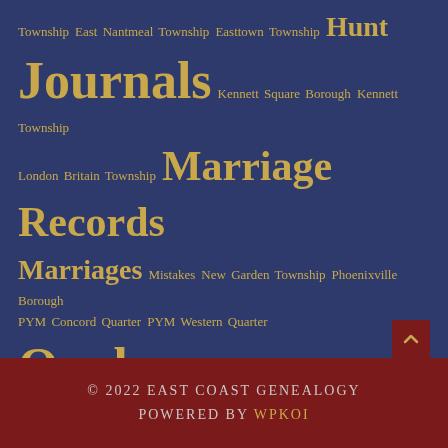Township East Nantmeal Township Easttown Township Hunt Journals Kennett Square Borough Kennett Township London Britain Township Marriage Records Marriages Mistakes New Garden Township Phoenixville Borough PYM Concord Quarter PYM Western Quarter Quaker Cemeteries Quaker Meetings Quaker Records Revolutionary War Rosters South Coventry Township Upper Oxford Township Warwick Township West Bradford Township West Chester Borough West Goshen Township West Grove Borough West Marlborough Township Westtown Township
© 2022 East Coast Genealogy Powered by WPKoi